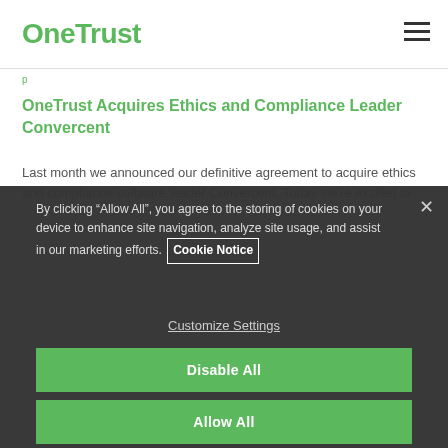OneTrust
OneTrust Acquires Ethics and Compliance Leader Convercent
Last month we announced our definitive agreement to acquire ethics and compliance software leader Convercent. Today we're excited to
By clicking “Allow All”, you agree to the storing of cookies on your device to enhance site navigation, analyze site usage, and assist in our marketing efforts. Cookie Notice
Customize Settings
Disable All
Allow All